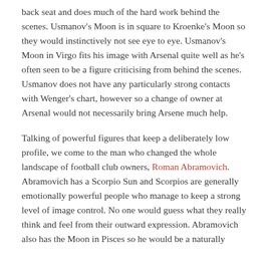back seat and does much of the hard work behind the scenes. Usmanov's Moon is in square to Kroenke's Moon so they would instinctively not see eye to eye. Usmanov's Moon in Virgo fits his image with Arsenal quite well as he's often seen to be a figure criticising from behind the scenes. Usmanov does not have any particularly strong contacts with Wenger's chart, however so a change of owner at Arsenal would not necessarily bring Arsene much help.
Talking of powerful figures that keep a deliberately low profile, we come to the man who changed the whole landscape of football club owners, Roman Abramovich. Abramovich has a Scorpio Sun and Scorpios are generally emotionally powerful people who manage to keep a strong level of image control. No one would guess what they really think and feel from their outward expression. Abramovich also has the Moon in Pisces so he would be a naturally